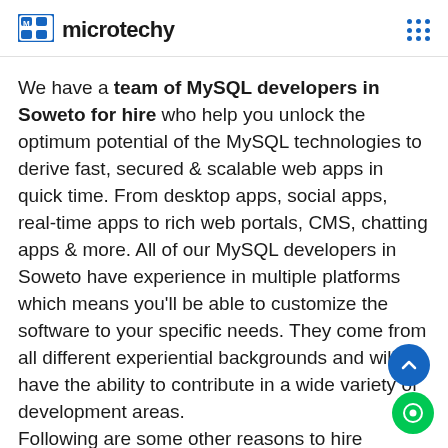microtechy
We have a team of MySQL developers in Soweto for hire who help you unlock the optimum potential of the MySQL technologies to derive fast, secured & scalable web apps in quick time. From desktop apps, social apps, real-time apps to rich web portals, CMS, chatting apps & more. All of our MySQL developers in Soweto have experience in multiple platforms which means you'll be able to customize the software to your specific needs. They come from all different experiential backgrounds and will have the ability to contribute in a wide variety of development areas.
Following are some other reasons to hire MySQL developers from Microtechy in Soweto.